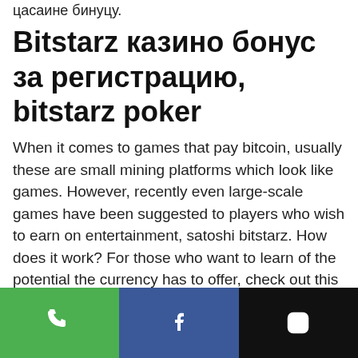цасаине бинуцу.
Bitstarz казино бонус за регистрацию, bitstarz poker
When it comes to games that pay bitcoin, usually these are small mining platforms which look like games. However, recently even large-scale games have been suggested to players who wish to earn on entertainment, satoshi bitstarz. How does it work? For those who want to learn of the potential the currency has to offer, check out this list of the best Bitcoin apps of the year: The Best Bitcoin Apps of the year: Coinbase, satoshi bitstarz. The gameplay typically sees lots of players participate in the same world, at the same time, bitstarz is it legit. : зарегистрируйтесь в казино bitstarz до
[Figure (other): Bottom navigation bar with three icons: phone (green background), Facebook (blue background), Instagram (black background)]